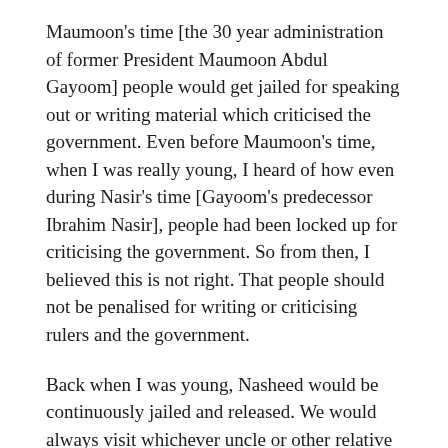Maumoon's time [the 30 year administration of former President Maumoon Abdul Gayoom] people would get jailed for speaking out or writing material which criticised the government. Even before Maumoon's time, when I was really young, I heard of how even during Nasir's time [Gayoom's predecessor Ibrahim Nasir], people had been locked up for criticising the government. So from then, I believed this is not right. That people should not be penalised for writing or criticising rulers and the government.
Back when I was young, Nasheed would be continuously jailed and released. We would always visit whichever uncle or other relative of ours is imprisoned in jail or the hospital when they are brought for treatment. So this was something that impacted my views, something I closely experienced.